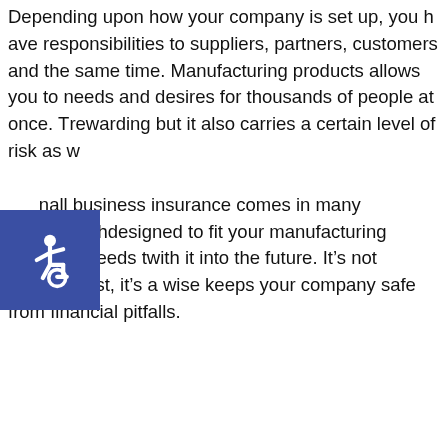Depending upon how your company is set up, you have responsibilities to suppliers, partners, customers and the same time. Manufacturing products allows you to needs and desires for thousands of people at once. T rewarding but it also carries a certain level of risk as w hall business insurance comes in many packages th designed to fit your manufacturing business needs with it into the future. It's not another cost, it's a wise keeps your company safe from financial pitfalls.
[Figure (illustration): Accessibility icon - white wheelchair symbol on blue square background]